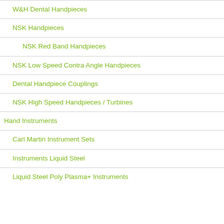W&H Dental Handpieces
NSK Handpieces
NSK Red Band Handpieces
NSK Low Speed Contra Angle Handpieces
Dental Handpiece Couplings
NSK High Speed Handpieces / Turbines
Hand Instruments
Carl Martin Instrument Sets
Instruments Liquid Steel
Liquid Steel Poly Plasma+ Instruments